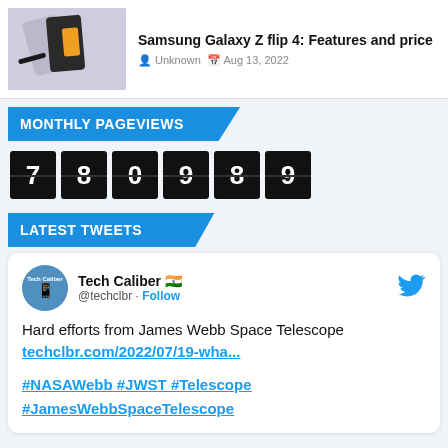[Figure (photo): Samsung Galaxy Z Fold phones product image on light purple background]
Samsung Galaxy Z flip 4: Features and price
Unknown  Aug 13, 2022
MONTHLY PAGEVIEWS
780989
LATEST TWEETS
Tech Caliber 🇮🇳 @techclbr · Follow
Hard efforts from James Webb Space Telescope techclbr.com/2022/07/19-wha...

#NASAWebb #JWST #Telescope #JamesWebbSpaceTelescope